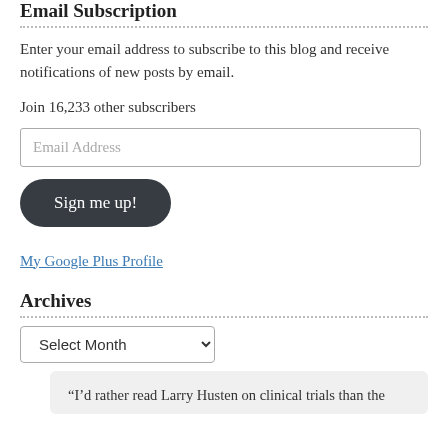Email Subscription
Enter your email address to subscribe to this blog and receive notifications of new posts by email.
Join 16,233 other subscribers
Email Address
Sign me up!
My Google Plus Profile
Archives
Select Month
"I'd rather read Larry Husten on clinical trials than the